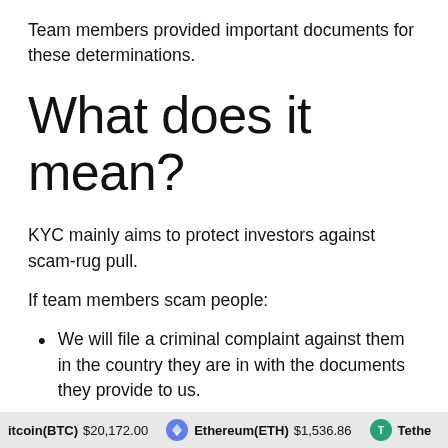Team members provided important documents for these determinations.
What does it mean?
KYC mainly aims to protect investors against scam-rug pull.
If team members scam people:
We will file a criminal complaint against them in the country they are in with the documents they provide to us.
We will reveal their identities
Bitcoin(BTC) $20,172.00   Ethereum(ETH) $1,536.86   Tether